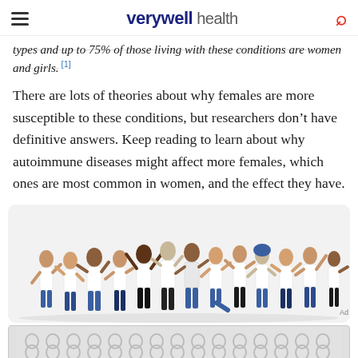verywell health
types and up to 75% of those living with these conditions are women and girls. [1]
There are lots of theories about why females are more susceptible to these conditions, but researchers don’t have definitive answers. Keep reading to learn about why autoimmune diseases might affect more females, which ones are most common in women, and the effect they have.
[Figure (photo): A large group of diverse women in white shirts posing and celebrating together against a white background]
[Figure (infographic): Advertisement banner with repeating circular dot/figure-8 pattern in gray tones]